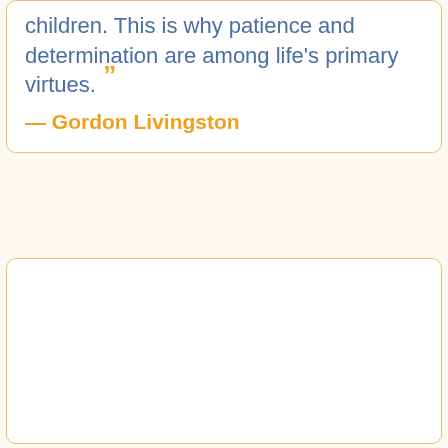children. This is why patience and determination are among life's primary virtues.” — Gordon Livingston
[Figure (other): Empty white box with orange border, used as a blank content area]